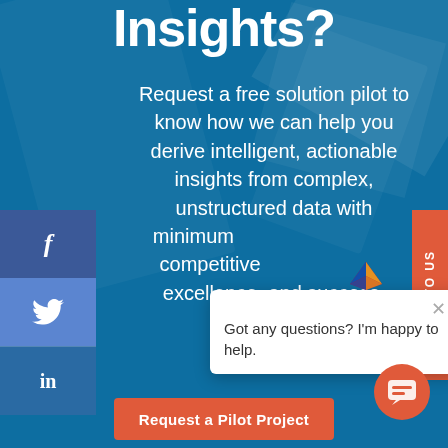Insights?
Request a free solution pilot to know how we can help you derive intelligent, actionable insights from complex, unstructured data with minimum competitive excellence, and success.
[Figure (screenshot): Social media sidebar with Facebook, Twitter, LinkedIn icons on teal background]
[Figure (screenshot): Chat popup with logo, close button, and text: Got any questions? I'm happy to help.]
[Figure (screenshot): Orange circular chat button in bottom right]
Request a Pilot Project